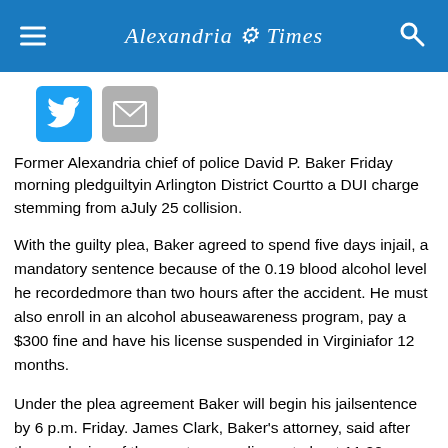Alexandria Times
[Figure (logo): Twitter share button icon (blue square with white bird)]
[Figure (logo): Email share button icon (grey square with envelope)]
Former Alexandria chief of police David P. Baker Friday morning pledguiltyin Arlington District Courtto a DUI charge stemming from aJuly 25 collision.
With the guilty plea, Baker agreed to spend five days injail, a mandatory sentence because of the 0.19 blood alcohol level he recordedmore than two hours after the accident. He must also enroll in an alcohol abuseawareness program, pay a $300 fine and have his license suspended in Virginiafor 12 months.
Under the plea agreement Baker will begin his jailsentence by 6 p.m. Friday. James Clark, Baker's attorney, said after theconclusion of the court proceedings at about 11:20 a.m. that Baker was alreadygoing through the booking process in the county's detention center.